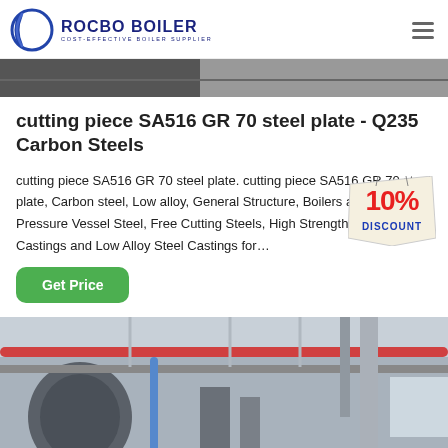ROCBO BOILER - COST-EFFECTIVE BOILER SUPPLIER
[Figure (photo): Partial top image of industrial boiler equipment, cropped]
cutting piece SA516 GR 70 steel plate - Q235 Carbon Steels
cutting piece SA516 GR 70 steel plate. cutting piece SA516 GR 70 steel plate, Carbon steel, Low alloy, General Structure, Boilers and Other Pressure Vessel Steel, Free Cutting Steels, High Strength Carbon Steel Castings and Low Alloy Steel Castings for…
[Figure (illustration): 10% DISCOUNT badge/sticker overlaid on text area]
[Figure (photo): Industrial boiler room interior with pipes and equipment visible]